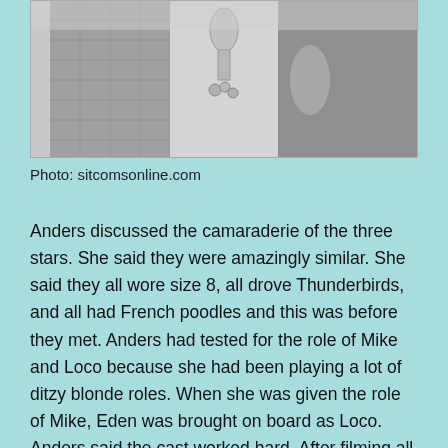[Figure (photo): Black and white photograph of three people, partially visible at top of page]
Photo: sitcomsonline.com
Anders discussed the camaraderie of the three stars. She said they were amazingly similar. She said they all wore size 8, all drove Thunderbirds, and all had French poodles and this was before they met. Anders had tested for the role of Mike and Loco because she had been playing a lot of ditzy blonde roles. When she was given the role of Mike, Eden was brought on board as Loco. Anders said the cast worked hard. After filming all week, they did late night interviews and early morning shows. One weekend they were sent to New York for a